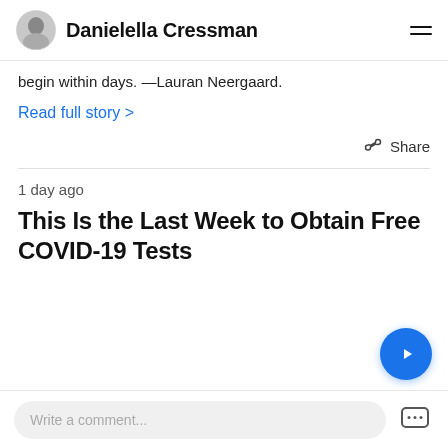Danielella Cressman
begin within days.  —Lauran Neergaard.
Read full story >
1 day ago
This Is the Last Week to Obtain Free COVID-19 Tests